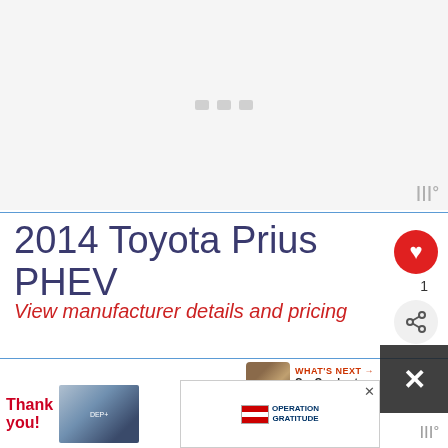[Figure (photo): Image placeholder with loading dots and watermark logo bottom right]
2014 Toyota Prius PHEV
View manufacturer details and pricing
Prius Plug-In: No Driving
[Figure (photo): What's Next promo: Car Overheats When AC is...]
[Figure (photo): Advertisement banner: Thank you / Operation Gratitude]